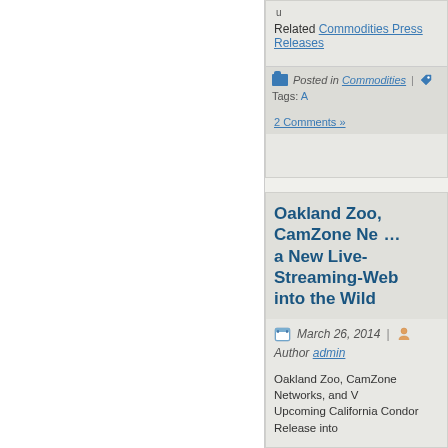u
Related Commodities Press Releases
Posted in Commodities | Tags: A... 2 Comments »
Oakland Zoo, CamZone Ne... a New Live-Streaming-Web... into the Wild
March 26, 2014 | Author admin
Oakland Zoo, CamZone Networks, and V... Upcoming California Condor Release into...